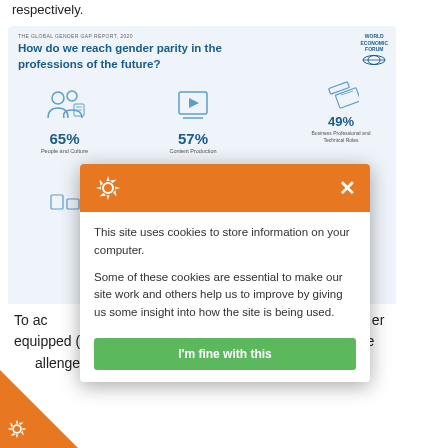respectively.
[Figure (infographic): World Economic Forum infographic: 'How do we reach gender parity in the professions of the future?' showing percentages for People and Culture (65%), Content Production (57%), Business Professional and Technical Roles (49%), Specialised Project Managers (35%), Cloud Computing (12%)]
[Figure (screenshot): Cookie consent modal overlay: orange header with gear icon and X close button. Body text: 'This site uses cookies to store information on your computer. Some of these cookies are essential to make our site work and others help us to improve by giving us some insight into how the site is being used.' Green 'I'm fine with this' button.]
To ad...orkforce strategies must...er equipped (in terms...mproved skills or re...ing) to deal with the...allenges and take advantage of the opportunities